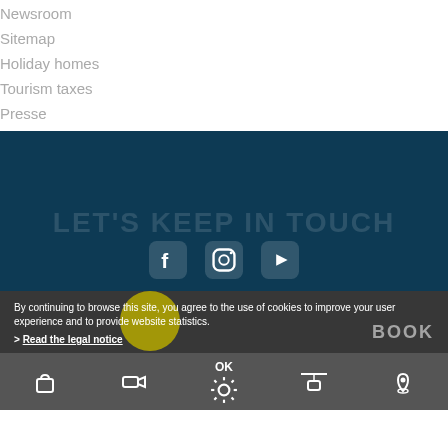Newsroom
Sitemap
Holiday homes
Tourism taxes
Presse
[Figure (other): Dark blue section with social media icons (Facebook, Instagram, YouTube) and a faded 'LET'S KEEP IN TOUCH' watermark text]
By continuing to browse this site, you agree to the use of cookies to improve your user experience and to provide website statistics.
> Read the legal notice
BOOK
[Figure (other): Bottom navigation bar with icons: shopping bag, video camera, OK sun icon, cable car/gondola, location pin map marker]